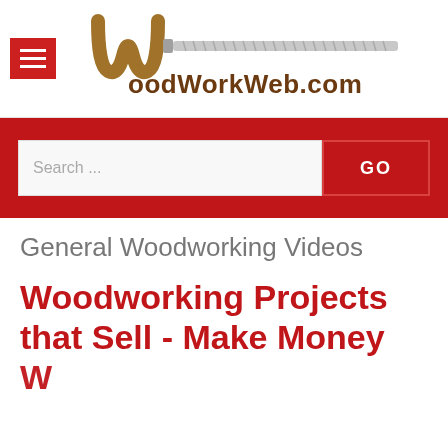[Figure (logo): WoodWorkWeb.com logo with a stylized W shape and a screw/drill bit graphic, with a hamburger menu button in red on the left]
[Figure (other): Red search bar with a text search input field showing 'Search ...' placeholder and a red GO button]
General Woodworking Videos
Woodworking Projects that Sell - Make Money Woodworking